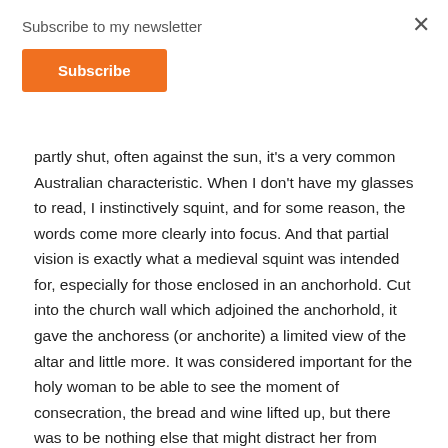Subscribe to my newsletter
Subscribe
partly shut, often against the sun, it's a very common Australian characteristic. When I don't have my glasses to read, I instinctively squint, and for some reason, the words come more clearly into focus. And that partial vision is exactly what a medieval squint was intended for, especially for those enclosed in an anchorhold. Cut into the church wall which adjoined the anchorhold, it gave the anchoress (or anchorite) a limited view of the altar and little more. It was considered important for the holy woman to be able to see the moment of consecration, the bread and wine lifted up, but there was to be nothing else that might distract her from God.